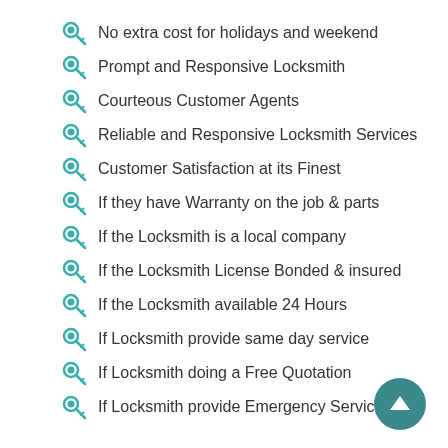No extra cost for holidays and weekend
Prompt and Responsive Locksmith
Courteous Customer Agents
Reliable and Responsive Locksmith Services
Customer Satisfaction at its Finest
If they have Warranty on the job & parts
If the Locksmith is a local company
If the Locksmith License Bonded & insured
If the Locksmith available 24 Hours
If Locksmith provide same day service
If Locksmith doing a Free Quotation
If Locksmith provide Emergency Service